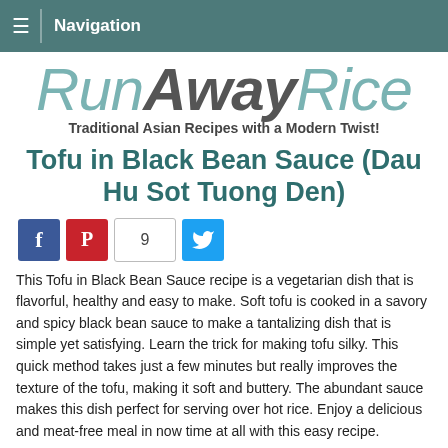Navigation
[Figure (logo): RunAwayRice logo with italic styled text]
Traditional Asian Recipes with a Modern Twist!
Tofu in Black Bean Sauce (Dau Hu Sot Tuong Den)
[Figure (infographic): Social share buttons: Facebook, Pinterest, count 9, Twitter]
This Tofu in Black Bean Sauce recipe is a vegetarian dish that is flavorful, healthy and easy to make. Soft tofu is cooked in a savory and spicy black bean sauce to make a tantalizing dish that is simple yet satisfying. Learn the trick for making tofu silky. This quick method takes just a few minutes but really improves the texture of the tofu, making it soft and buttery. The abundant sauce makes this dish perfect for serving over hot rice. Enjoy a delicious and meat-free meal in now time at all with this easy recipe.
[Figure (photo): Food photo showing tofu in black bean sauce dish]